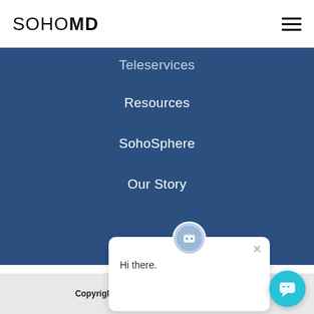SOHOMD
Teleservices
Resources
SohoSphere
Our Story
Hi there.
Copyright © SohoMD. All Right Reserved